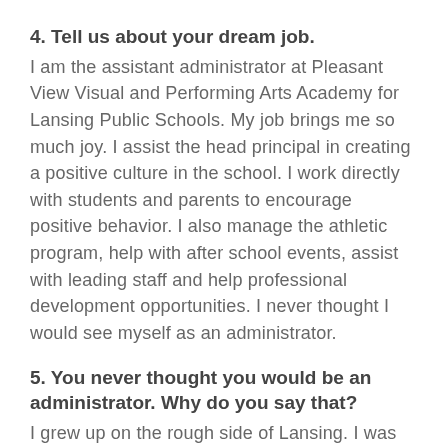4. Tell us about your dream job.
I am the assistant administrator at Pleasant View Visual and Performing Arts Academy for Lansing Public Schools. My job brings me so much joy. I assist the head principal in creating a positive culture in the school. I work directly with students and parents to encourage positive behavior. I also manage the athletic program, help with after school events, assist with leading staff and help professional development opportunities. I never thought I would see myself as an administrator.
5. You never thought you would be an administrator. Why do you say that?
I grew up on the rough side of Lansing. I was not always the ideal student. I was the class clown and always got kicked out of class. I had many people around me who cared about me and